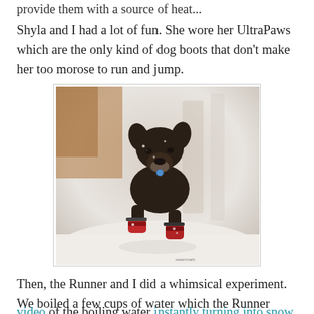provide them with a source of heat...
Shyla and I had a lot of fun. She wore her UltraPaws which are the only kind of dog boots that don't make her too morose to run and jump.
[Figure (photo): A dark brown dog wearing red dog boots (UltraPaws) leaping through the snow, with a blurred wintry background of trees.]
Then, the Runner and I did a whimsical experiment. We boiled a few cups of water which the Runner tossed into the air while I videoed. The result was FUN. Check out our short video of the boiling water instantly turning into snow when